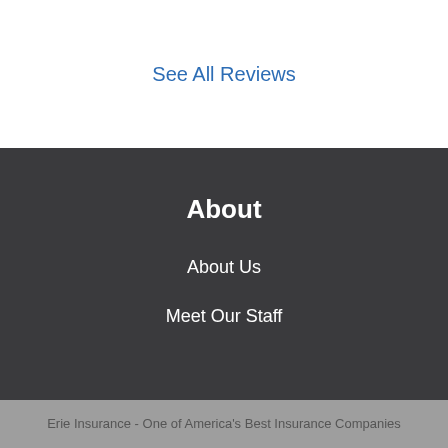See All Reviews
About
About Us
Meet Our Staff
Customer Reviews
Erie Insurance - One of America's Best Insurance Companies